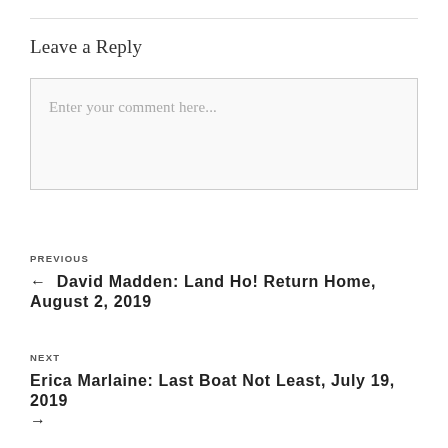Leave a Reply
Enter your comment here...
PREVIOUS
← David Madden: Land Ho! Return Home, August 2, 2019
NEXT
Erica Marlaine: Last Boat Not Least, July 19, 2019 →